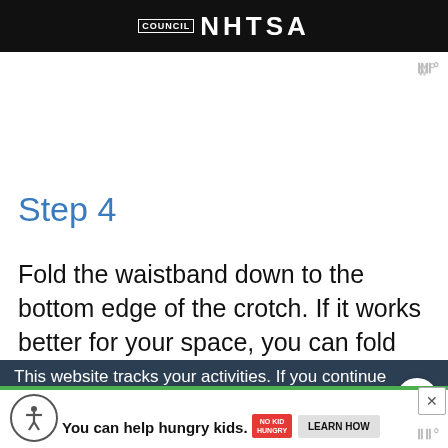[Figure (logo): NHTSA logo on black background banner]
Step 4
Fold the waistband down to the bottom edge of the crotch. If it works better for your space, you can fold the waistband down a third of the wa… and then fold it again to make a smaller bund'…
This website tracks your activities. If you continue browsing the site, you're giving us cons… your activity.
You can help hungry kids.
LEARN HOW